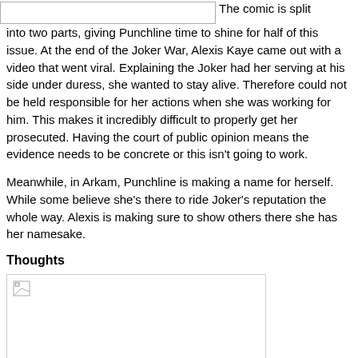[Figure (other): Broken/placeholder image at top left]
The comic is split into two parts, giving Punchline time to shine for half of this issue. At the end of the Joker War, Alexis Kaye came out with a video that went viral. Explaining the Joker had her serving at his side under duress, she wanted to stay alive. Therefore could not be held responsible for her actions when she was working for him. This makes it incredibly difficult to properly get her prosecuted. Having the court of public opinion means the evidence needs to be concrete or this isn't going to work.
Meanwhile, in Arkam, Punchline is making a name for herself. While some believe she's there to ride Joker's reputation the whole way. Alexis is making sure to show others there she has her namesake.
Thoughts
[Figure (other): Broken/placeholder image below Thoughts heading]